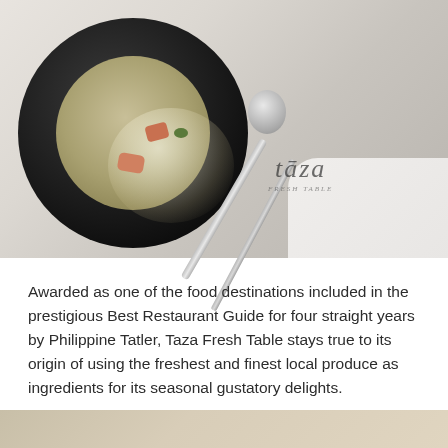[Figure (photo): Overhead photo of a creamy soup in a black round plate/bowl, garnished with orange-red croutons or seafood pieces and green herbs. A silver spoon and knife are placed to the right on a white cloth napkin with cursive 'Taza' branding.]
Awarded as one of the food destinations included in the prestigious Best Restaurant Guide for four straight years by Philippine Tatler, Taza Fresh Table stays true to its origin of using the freshest and finest local produce as ingredients for its seasonal gustatory delights.
[Figure (photo): Partial view of another food photo at the bottom of the page, cropped.]